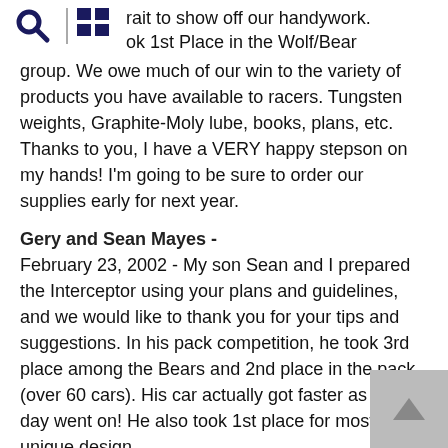rait to show off our handywork. ok 1st Place in the Wolf/Bear
group. We owe much of our win to the variety of products you have available to racers. Tungsten weights, Graphite-Moly lube, books, plans, etc. Thanks to you, I have a VERY happy stepson on my hands! I'm going to be sure to order our supplies early for next year.
Gery and Sean Mayes -
February 23, 2002 - My son Sean and I prepared the Interceptor using your plans and guidelines, and we would like to thank you for your tips and suggestions. In his pack competition, he took 3rd place among the Bears and 2nd place in the pack (over 60 cars). His car actually got faster as the day went on! He also took 1st place for most unique design.
His win in the pack made him eligible to participate in the district competition. We did some extra work on the wheels (alignment and lubrication with graphite) and guess what -- He